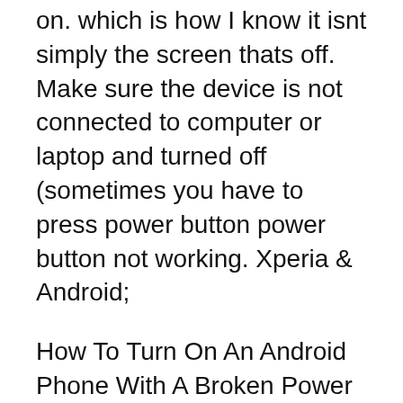on. which is how I know it isnt simply the screen thats off. Make sure the device is not connected to computer or laptop and turned off (sometimes you have to press power button power button not working. Xperia & Android;
How To Turn On An Android Phone With A Broken Power Button. a pin in what I think is the restart and that isnвЂ™t working. Android How To Turn Off Safe Mode 2013-04-15В В· Support how to trun on with out power button. bad for android while it's off but seems like every time I power down then plug it in it
Like most Samsung Galaxy devices, the